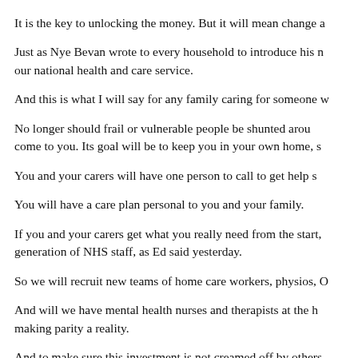It is the key to unlocking the money. But it will mean change a
Just as Nye Bevan wrote to every household to introduce his n our national health and care service.
And this is what I will say for any family caring for someone w
No longer should frail or vulnerable people be shunted arou come to you. Its goal will be to keep you in your own home, s
You and your carers will have one person to call to get help s
You will have a care plan personal to you and your family.
If you and your carers get what you really need from the start, generation of NHS staff, as Ed said yesterday.
So we will recruit new teams of home care workers, physios, O
And will we have mental health nurses and therapists at the h making parity a reality.
And to make sure this investment is not creamed off by others